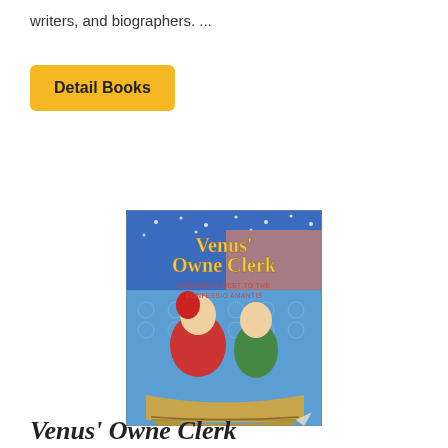writers, and biographers. ...
Detail Books
[Figure (illustration): Book cover of 'Venus' Owne Clerk: Chaucer's Debt to the Confessio Amantis' featuring cartoon illustrations of two medieval figures (one in red, one in green) seated in a boat, with a decorative blue patterned background and starry night sky.]
Venus' Owne Clerk